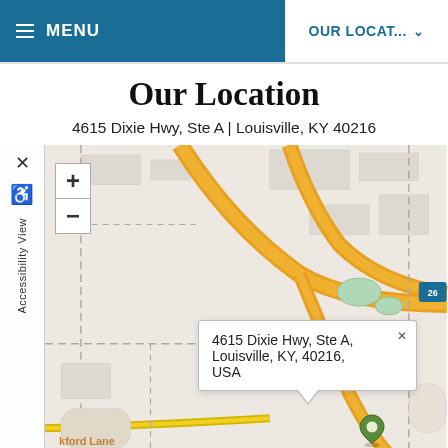MENU | OUR LOCAT...
Our Location
4615 Dixie Hwy, Ste A | Louisville, KY 40216
[Figure (map): Interactive street map showing the location of 4615 Dixie Hwy, Ste A, Louisville, KY 40216, USA. Map shows highway interchange with orange roads, dashed property lines, and a popup callout with the address. A map marker icon is visible at the pinned location. Zoom in (+) and out (-) controls visible, along with an Accessibility View sidebar. Bottom of map shows 'HUNTERS TRACE' neighborhood label and 'kford Lane' street partial label.]